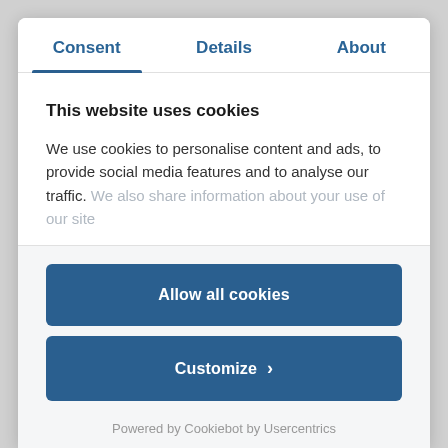Consent | Details | About
This website uses cookies
We use cookies to personalise content and ads, to provide social media features and to analyse our traffic. We also share information about your use of our site
Allow all cookies
Customize >
Powered by Cookiebot by Usercentrics